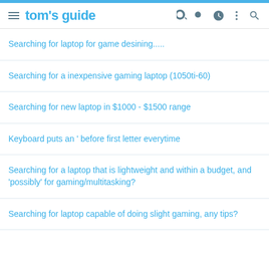tom's guide
Searching for laptop for game desining.....
Searching for a inexpensive gaming laptop (1050ti-60)
Searching for new laptop in $1000 - $1500 range
Keyboard puts an ' before first letter everytime
Searching for a laptop that is lightweight and within a budget, and 'possibly' for gaming/multitasking?
Searching for laptop capable of doing slight gaming, any tips?